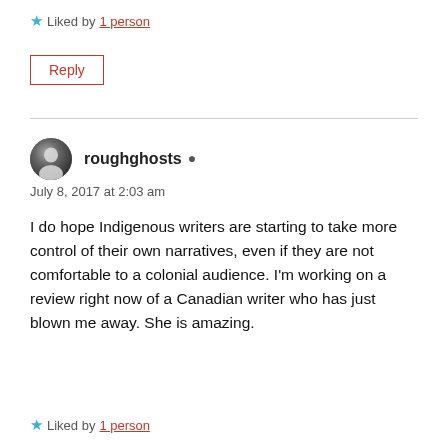★ Liked by 1 person
Reply
roughghosts ▲
July 8, 2017 at 2:03 am
I do hope Indigenous writers are starting to take more control of their own narratives, even if they are not comfortable to a colonial audience. I'm working on a review right now of a Canadian writer who has just blown me away. She is amazing.
★ Liked by 1 person